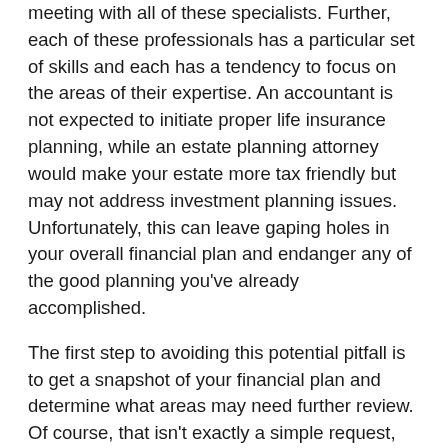meeting with all of these specialists. Further, each of these professionals has a particular set of skills and each has a tendency to focus on the areas of their expertise. An accountant is not expected to initiate proper life insurance planning, while an estate planning attorney would make your estate more tax friendly but may not address investment planning issues. Unfortunately, this can leave gaping holes in your overall financial plan and endanger any of the good planning you've already accomplished.
The first step to avoiding this potential pitfall is to get a snapshot of your financial plan and determine what areas may need further review. Of course, that isn't exactly a simple request, since many of the tools financial services companies offer are either too specific to a particular type of planning